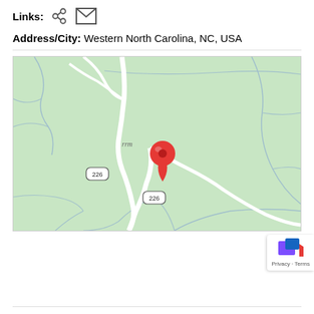Links:
[Figure (map): Map of Western North Carolina, NC, USA showing route 226 roads and a red location pin marker in the center of a green terrain map with river/stream features.]
Address/City: Western North Carolina, NC, USA